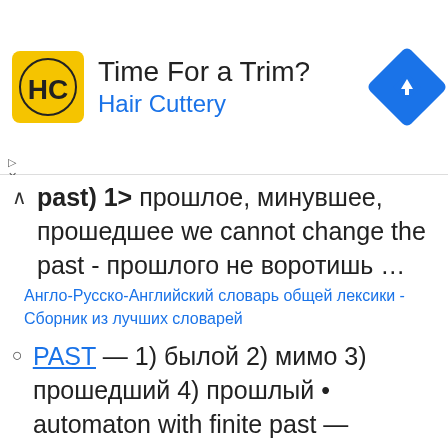[Figure (other): Advertisement banner for Hair Cuttery salon. Shows HC logo on yellow square background, text 'Time For a Trim?' and 'Hair Cuttery' in blue, and a blue navigation diamond icon on the right.]
(past) 1> прошлое, минувшее, прошедшее we cannot change the past - прошлого не воротишь …
Англо-Русско-Английский словарь общей лексики - Сборник из лучших словарей
PAST — 1) былой 2) мимо 3) прошедший 4) прошлый • automaton with finite past — автомат с конечным запоминанием automaton with infinite past — автомат с бесконечным …
Англо-Русский научно-технический словарь
PAST — past уже 1) то что …